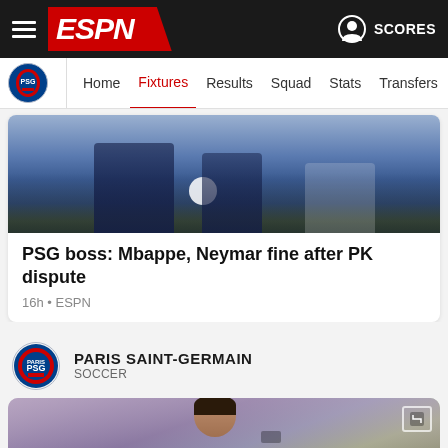ESPN - SCORES
Home | Fixtures | Results | Squad | Stats | Transfers | More
[Figure (photo): Soccer players on field, one holding a ball, wearing dark blue jerseys]
PSG boss: Mbappe, Neymar fine after PK dispute
16h • ESPN
PARIS SAINT-GERMAIN
SOCCER
[Figure (photo): Soccer player wearing lime green Manchester City ETIHAD AIRWAYS jersey running on pitch]